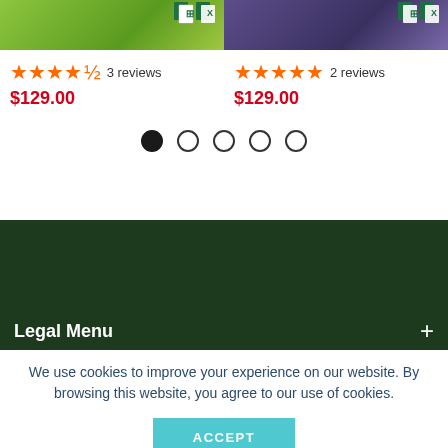[Figure (screenshot): Product thumbnail images - left with green gradient background and Excel/Sheets icons, right with purple gradient background and Excel/Sheets icons]
★★★★½ 3 reviews $129.00
★★★★★ 2 reviews $129.00
[Figure (other): Carousel navigation dots - one filled black dot and four empty circle dots]
[Figure (other): Dark green footer background area]
Legal Menu +
We use cookies to improve your experience on our website. By browsing this website, you agree to our use of cookies.
ACCEPT